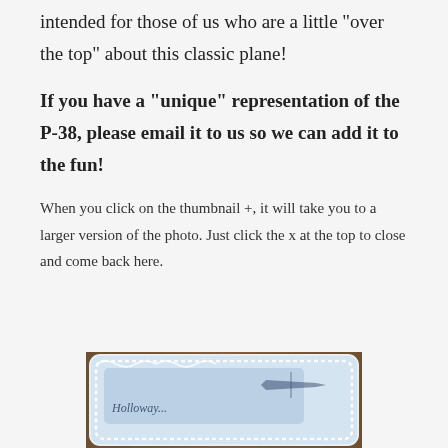intended for those of us who are a little “over the top” about this classic plane!
If you have a “unique” representation of the P-38, please email it to us so we can add it to the fun!
When you click on the thumbnail +, it will take you to a larger version of the photo. Just click the x at the top to close and come back here.
[Figure (photo): A decorative cake or plaque depicting a P-38 aircraft, with ornate white frosting border on a wooden surface]